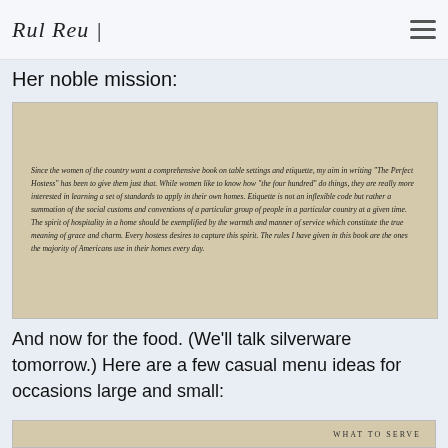Rul Reu | [navigation menu icon]
Her noble mission:
[Figure (photo): Scanned page from a book showing italic text about table settings and etiquette for 'The Perfect Hostess', discussing the spirit of hospitality and social customs.]
And now for the food. (We'll talk silverware tomorrow.) Here are a few casual menu ideas for occasions large and small:
[Figure (photo): Bottom portion of a book page showing 'WHAT TO SERVE' heading in small caps.]